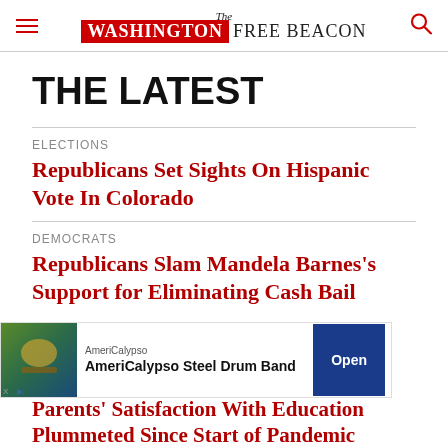The Washington Free Beacon
THE LATEST
ELECTIONS
Republicans Set Sights On Hispanic Vote In Colorado
DEMOCRATS
Republicans Slam Mandela Barnes's Support for Eliminating Cash Bail
[Figure (other): Advertisement banner for AmeriCalypso Steel Drum Band with an Open button]
Parents' Satisfaction With Education Plummeted Since Start of Pandemic